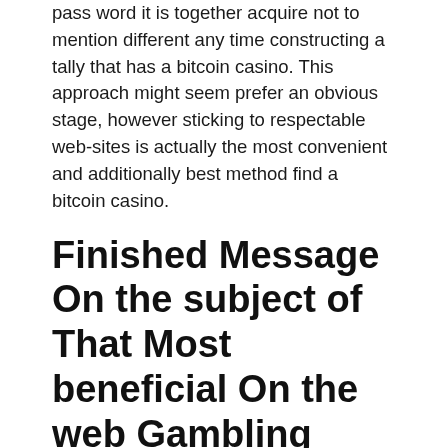pass word it is together acquire not to mention different any time constructing a tally that has a bitcoin casino. This approach might seem prefer an obvious stage, however sticking to respectable web-sites is actually the most convenient and additionally best method find a bitcoin casino.
Finished Message On the subject of That Most beneficial On the web Gambling establishment Canada
Com and for that reason shall we be held certain that they'll offer what you may want? The web page continues to be